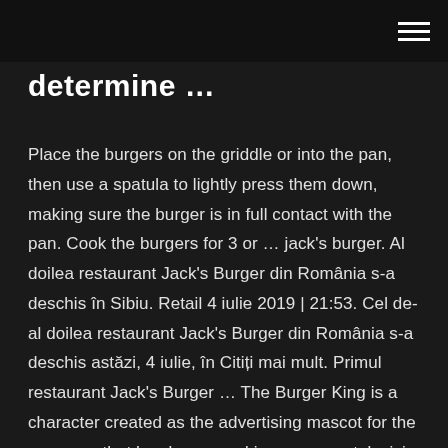determine …
Place the burgers on the griddle or into the pan, then use a spatula to lightly press them down, making sure the burger is in full contact with the pan. Cook the burgers for 3 or … jack's burger. Al doilea restaurant Jack's Burger din România s-a deschis în Sibiu. Retail 4 iulie 2019 | 21:53. Cel de-al doilea restaurant Jack's Burger din România s-a deschis astăzi, 4 iulie, în Citiți mai mult. Primul restaurant Jack's Burger … The Burger King is a character created as the advertising mascot for the company that has been used in numerous television commercials and advertising programs. The character has undergone several iterations over the course of its company's history. The first iteration of the King was part of a Burger… Jul 01, 2014 Nov 12